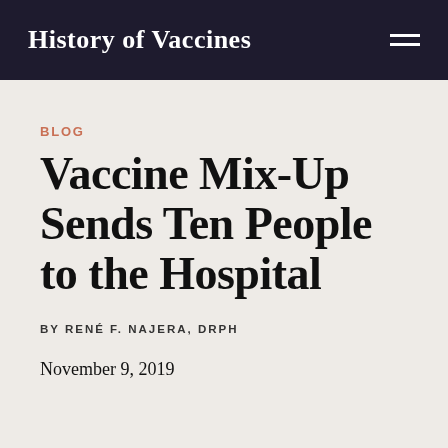History of Vaccines
BLOG
Vaccine Mix-Up Sends Ten People to the Hospital
BY RENÉ F. NAJERA, DRPH
November 9, 2019